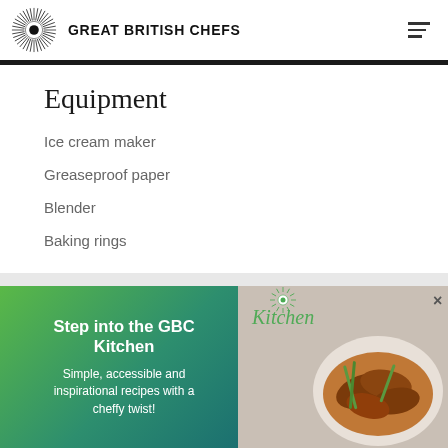GREAT BRITISH CHEFS
Equipment
Ice cream maker
Greaseproof paper
Blender
Baking rings
[Figure (infographic): Promotional banner for GBC Kitchen with green gradient background on left showing 'Step into the GBC Kitchen' headline and 'Simple, accessible and inspirational recipes with a cheffy twist!' subtext. Right side shows a photo of glazed chicken wings with spring onions on a plate. Kitchen cursive text and sunburst logo visible on photo side. X close button top right.]